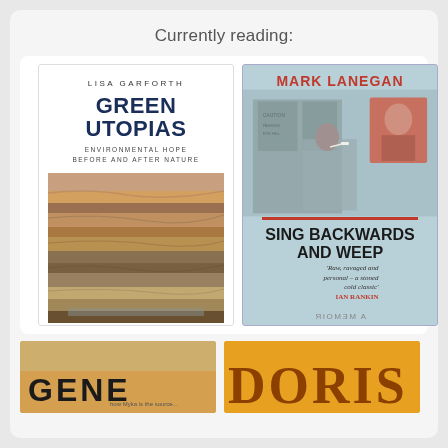Currently reading:
[Figure (photo): Book cover: Green Utopias by Lisa Garforth. Environmental Hope Before and After Nature. White cover with image of layered mining/geological strata.]
[Figure (photo): Book cover: Sing Backwards and Weep by Mark Lanegan. Light blue cover with black and white photo of Mark Lanegan, red author name, black bold title, blurb from Ian Rankin: 'Raw, ravaged and personal – a stoned cold classic'.]
[Figure (photo): Partial book cover at bottom left, partially cropped, showing 'GENE' text and golden/brown tones.]
[Figure (photo): Partial book cover at bottom right showing 'DORIS' in large serif text on orange/yellow background.]